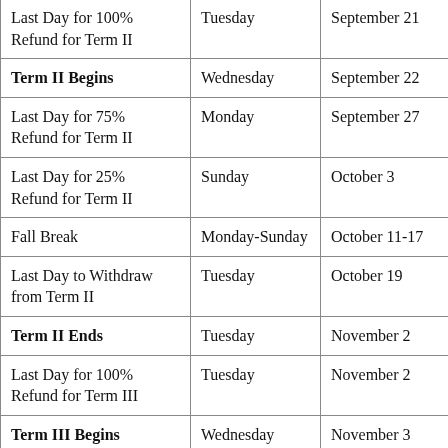| Event | Day | Date |
| --- | --- | --- |
| Last Day for 100% Refund for Term II | Tuesday | September 21 |
| Term II Begins | Wednesday | September 22 |
| Last Day for 75% Refund for Term II | Monday | September 27 |
| Last Day for 25% Refund for Term II | Sunday | October 3 |
| Fall Break | Monday-Sunday | October 11-17 |
| Last Day to Withdraw from Term II | Tuesday | October 19 |
| Term II Ends | Tuesday | November 2 |
| Last Day for 100% Refund for Term III | Tuesday | November 2 |
| Term III Begins | Wednesday | November 3 |
| Last Day for 75% Refund for Term III | Sunday | November 7 |